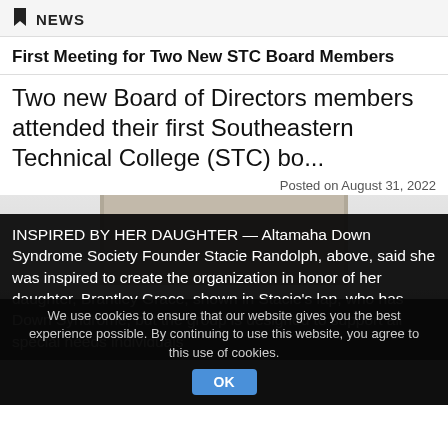NEWS
First Meeting for Two New STC Board Members
Two new Board of Directors members attended their first Southeastern Technical College (STC) bo...
Posted on August 31, 2022
[Figure (photo): Photo with dark overlay showing caption about Altamaha Down Syndrome Society Founder Stacie Randolph and her daughter Brantley Grace]
INSPIRED BY HER DAUGHTER — Altamaha Down Syndrome Society Founder Stacie Randolph, above, said she was inspired to create the organization in honor of her daughter, Brantley Grace, shown in Stacie's lap, who has Down Syndrome, but the group is designed to support all special needs individuals
We use cookies to ensure that our website gives you the best experience possible. By continuing to use this website, you agree to this use of cookies.